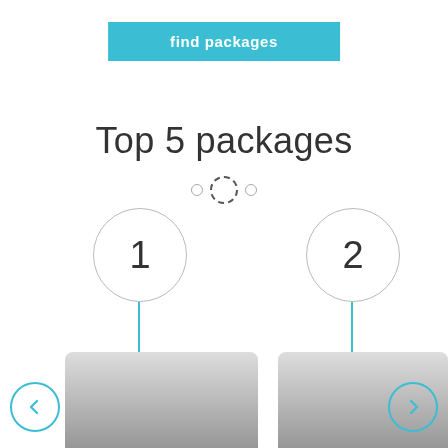find packages
Top 5 packages
[Figure (infographic): Carousel navigation dots: two small circles and one larger dashed circle in the center indicating current position]
[Figure (infographic): Card 1: Circle with number '1' and a teal vertical stem leading to a gray gradient card image]
Enjoy the Snow (5stars
[Figure (infographic): Card 2: Circle with number '2' and a teal vertical stem leading to a gray gradient card image]
Enjoy the Snow (3sta
[Figure (infographic): Left navigation arrow (chevron left) in teal circle]
[Figure (infographic): Right navigation arrow (chevron right) in teal circle]